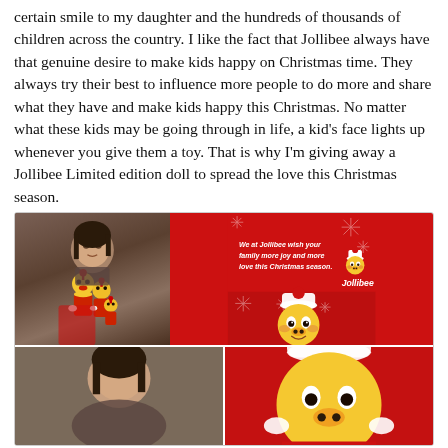certain smile to my daughter and the hundreds of thousands of children across the country. I like the fact that Jollibee always have that genuine desire to make kids happy on Christmas time. They always try their best to influence more people to do more and share what they have and make kids happy this Christmas. No matter what these kids may be going through in life, a kid's face lights up whenever you give them a toy. That is why I'm giving away a Jollibee Limited edition doll to spread the love this Christmas season.
[Figure (photo): Collage of four photos: top-left shows a young girl holding multiple Jollibee plush dolls; top-right shows a red Jollibee branded card with snowflake decorations and text 'We at Jollibee wish your family more joy and more love this Christmas season.' with the Jollibee mascot logo and brand name; bottom-left shows a partial photo of a person; bottom-right shows a partial photo of a Jollibee plush doll.]